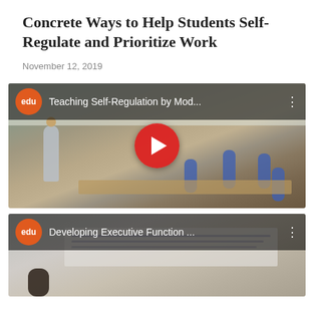Concrete Ways to Help Students Self-Regulate and Prioritize Work
November 12, 2019
[Figure (screenshot): YouTube video thumbnail showing a teacher in a classroom with students in blue uniforms seated at desks. Video title: 'Teaching Self-Regulation by Mod...' with edu badge and YouTube play button overlay.]
[Figure (screenshot): YouTube video thumbnail showing another classroom scene with a whiteboard. Video title: 'Developing Executive Function ...' with edu badge.]